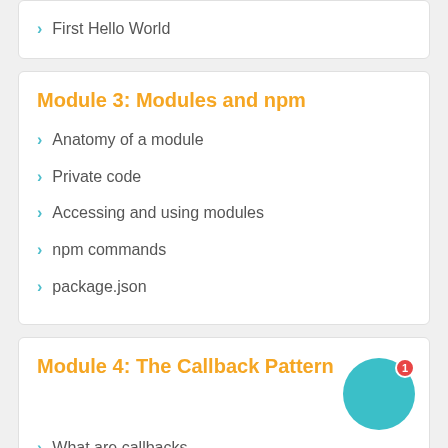First Hello World
Module 3: Modules and npm
Anatomy of a module
Private code
Accessing and using modules
npm commands
package.json
Module 4: The Callback Pattern
What are callbacks
Callback-last